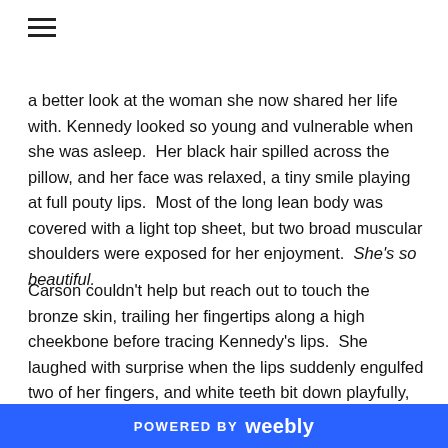≡
a better look at the woman she now shared her life with. Kennedy looked so young and vulnerable when she was asleep.  Her black hair spilled across the pillow, and her face was relaxed, a tiny smile playing at full pouty lips.  Most of the long lean body was covered with a light top sheet, but two broad muscular shoulders were exposed for her enjoyment.  She's so beautiful.
Carson couldn't help but reach out to touch the  bronze skin, trailing her fingertips along a high cheekbone before tracing Kennedy's lips.  She laughed with surprise when the lips suddenly engulfed two of her fingers, and white teeth bit down playfully, nipping at the wandering digits.  The brunette flashed her a broad grin and released her fingers. "Hey gorgeous," Kennedy rasped, as her blue eyes fluttered
POWERED BY weebly